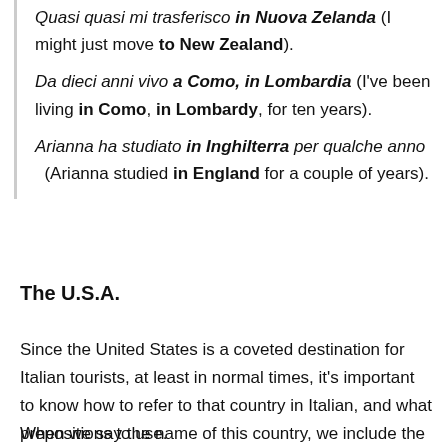Quasi quasi mi trasferisco in Nuova Zelanda (I might just move to New Zealand).
Da dieci anni vivo a Como, in Lombardia (I've been living in Como, in Lombardy, for ten years).
Arianna ha studiato in Inghilterra per qualche anno (Arianna studied in England for a couple of years).
The U.S.A.
Since the United States is a coveted destination for Italian tourists, at least in normal times, it's important to know how to refer to that country in Italian, and what prepositions to use.
When we say the name of this country, we include the article "the." The United States of America. So when we use the